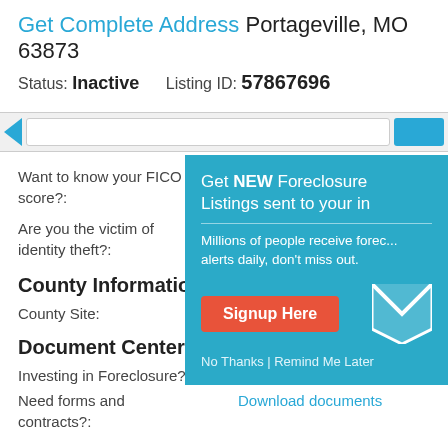Get Complete Address Portageville, MO 63873
Status: Inactive   Listing ID: 57867696
Want to know your FICO score?:
Click here
Are you the victim of identity theft?:
Find ou...
County Information
County Site:
Click H...
Document Center
Investing in Foreclosure?:
Get a T...
Need forms and contracts?:
Download documents
[Figure (screenshot): Popup overlay: Get NEW Foreclosure Listings sent to your inbox. Millions of people receive foreclosure alerts daily, don't miss out. Signup Here button. No Thanks | Remind Me Later links.]